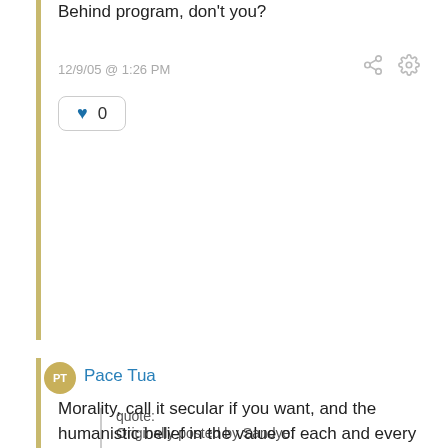Behind program, don't you?
12/9/05 @ 1:26 PM
0
Pace Tua
quote:
Originally posted by Sandye:

Do you believe in the death penalty?
Morality, call it secular if you want, and the humanistic belief in the value of each and every